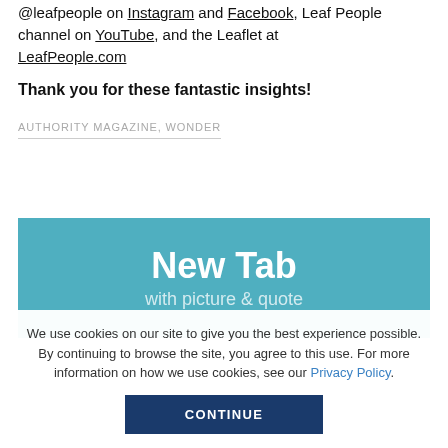@leafpeople on Instagram and Facebook, Leaf People channel on YouTube, and the Leaflet at LeafPeople.com
Thank you for these fantastic insights!
AUTHORITY MAGAZINE, WONDER
[Figure (screenshot): Teal banner with white bold text 'New Tab' and lighter text 'with picture & quote']
We use cookies on our site to give you the best experience possible. By continuing to browse the site, you agree to this use. For more information on how we use cookies, see our Privacy Policy.
CONTINUE